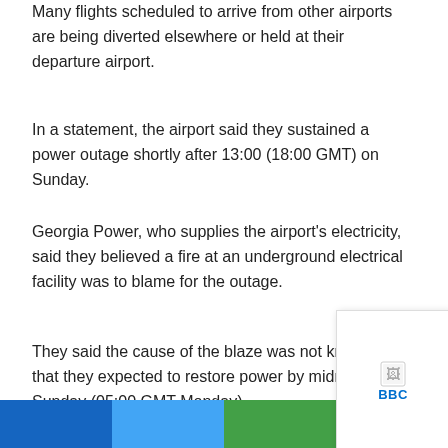Many flights scheduled to arrive from other airports are being diverted elsewhere or held at their departure airport.
In a statement, the airport said they sustained a power outage shortly after 13:00 (18:00 GMT) on Sunday.
Georgia Power, who supplies the airport's electricity, said they believed a fire at an underground electrical facility was to blame for the outage.
They said the cause of the blaze was not known, but that they expected to restore power by midnight on Sunday (05:00 GMT Monday).
The flight control tower is operating normally,
[Figure (other): Small popup or tooltip box with a broken image icon and BBC text link in blue.]